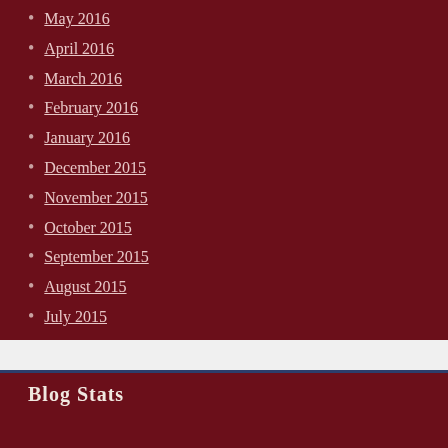May 2016
April 2016
March 2016
February 2016
January 2016
December 2015
November 2015
October 2015
September 2015
August 2015
July 2015
June 2015
Blog Stats